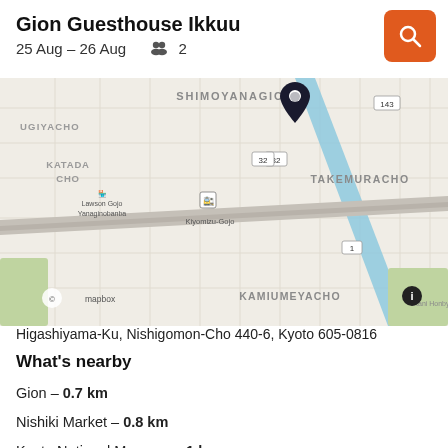Gion Guesthouse Ikkuu
25 Aug – 26 Aug  👥 2
[Figure (map): Street map of Kyoto showing location of Gion Guesthouse Ikkuu near Kiyomizu-Gojo, with neighborhoods SHIMOYANAGICHO, UGIYACHO, KATADA CHO, TAKEMURACHO, KAMIUMEYACHO labeled. Map shows Mapbox attribution. A dark pin marks the guesthouse location.]
Higashiyama-Ku, Nishigomon-Cho 440-6, Kyoto 605-0816
What's nearby
Gion – 0.7 km
Nishiki Market – 0.8 km
Kyoto National Museum – 1 km
Sanjusangendo Temple – 1.2 km